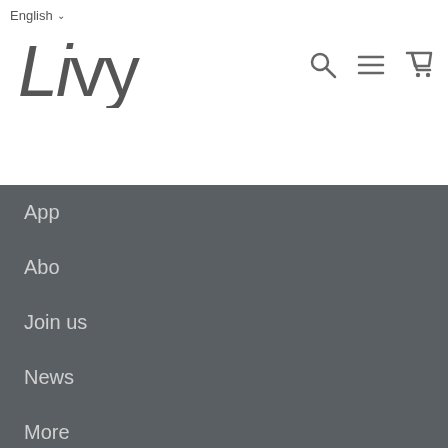English
[Figure (logo): Livy brand logo in grey sans-serif font with navigation icons (search, menu, cart)]
App
Abo
Join us
News
More
Support
Press
Jobs